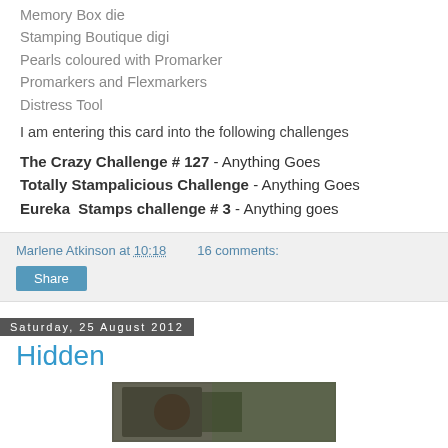Memory Box die
Stamping Boutique digi
Pearls coloured with Promarker
Promarkers and Flexmarkers
Distress Tool
I am entering this card into the following challenges
The Crazy Challenge # 127 - Anything Goes
Totally Stampalicious Challenge - Anything Goes
Eureka  Stamps challenge # 3 - Anything goes
Marlene Atkinson at 10:18   16 comments:
Share
Saturday, 25 August 2012
Hidden
[Figure (photo): Partial photo visible at bottom of page]